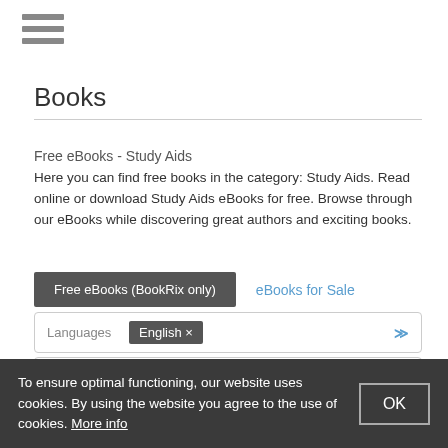[Figure (other): Hamburger menu icon (three horizontal bars)]
Books
Free eBooks - Study Aids
Here you can find free books in the category: Study Aids. Read online or download Study Aids eBooks for free. Browse through our eBooks while discovering great authors and exciting books.
Free eBooks (BookRix only)   eBooks for Sale
Languages  English ×
Categories  Study Aids ×
Best Rated Books
To ensure optimal functioning, our website uses cookies. By using the website you agree to the use of cookies. More info